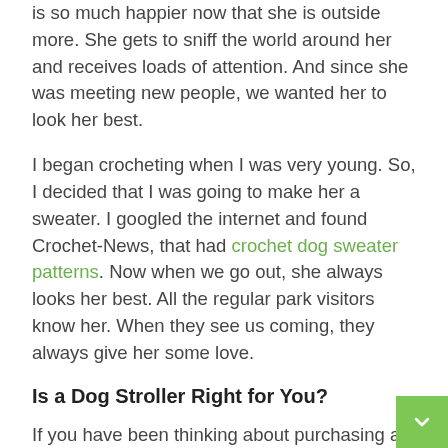is so much happier now that she is outside more. She gets to sniff the world around her and receives loads of attention. And since she was meeting new people, we wanted her to look her best.
I began crocheting when I was very young. So, I decided that I was going to make her a sweater. I googled the internet and found Crochet-News, that had crochet dog sweater patterns. Now when we go out, she always looks her best. All the regular park visitors know her. When they see us coming, they always give her some love.
Is a Dog Stroller Right for You?
If you have been thinking about purchasing a dog stroller, we would highly recommend it. You wouldn't believe how much easier it makes things. You can walk at your own pace, and your dog can get outside and enjoy the great outdoors.